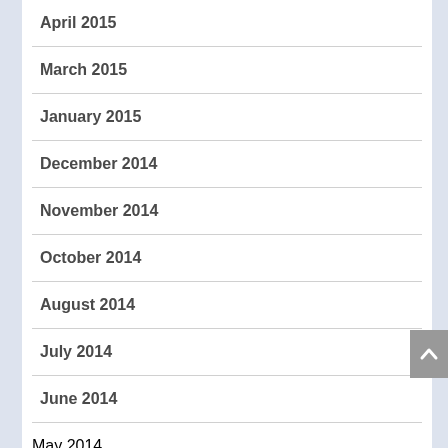April 2015
March 2015
January 2015
December 2014
November 2014
October 2014
August 2014
July 2014
June 2014
May 2014